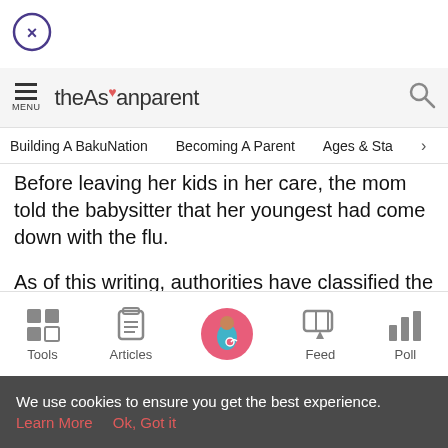[Figure (other): Close button — circle with X]
theAsianparent — MENU and search icon header bar
Building A BakuNation   Becoming A Parent   Ages & Sta >
Before leaving her kids in her care, the mom told the babysitter that her youngest had come down with the flu.
As of this writing, authorities have classified the case as sudden infant death, noting how the baby died due to mucus
[Figure (infographic): Bottom navigation bar with icons: Tools (grid), Articles (clipboard), Home (pregnant woman in pink circle), Feed (chat bubble), Poll (bar chart)]
We use cookies to ensure you get the best experience.
Learn More   Ok, Got it